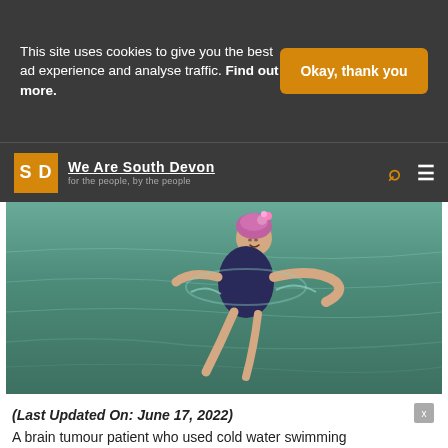This site uses cookies to give you the best ad experience and analyse traffic. Find out more.
Okay, thank you
We Are South Devon — for the people, by the people
[Figure (photo): A woman swimming in open water (the sea), wearing a dark swimsuit and a pink/purple floral swimming cap, smiling at the camera from the water.]
(Last Updated On: June 17, 2022)
A brain tumour patient who used cold water swimming